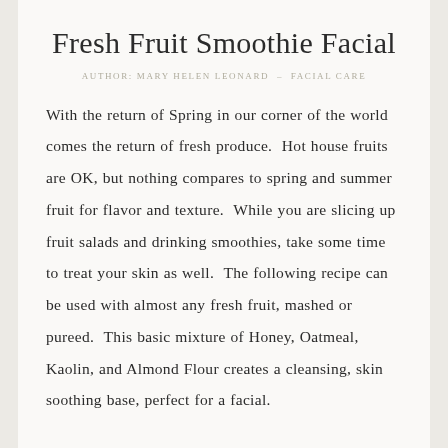Fresh Fruit Smoothie Facial
AUTHOR: MARY HELEN LEONARD  –  FACIAL CARE
With the return of Spring in our corner of the world comes the return of fresh produce.  Hot house fruits are OK, but nothing compares to spring and summer fruit for flavor and texture.  While you are slicing up fruit salads and drinking smoothies, take some time to treat your skin as well.  The following recipe can be used with almost any fresh fruit, mashed or pureed.  This basic mixture of Honey, Oatmeal, Kaolin, and Almond Flour creates a cleansing, skin soothing base, perfect for a facial.